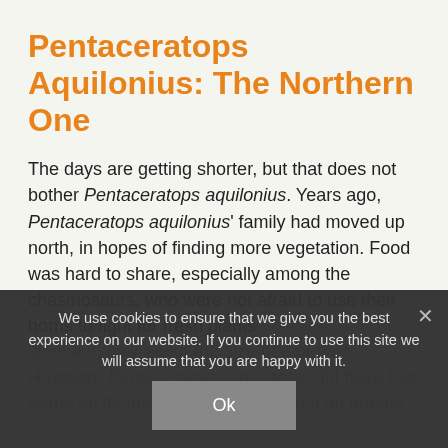Pentaceratops Aquilonius: The Northern One
The days are getting shorter, but that does not bother Pentaceratops aquilonius. Years ago, Pentaceratops aquilonius' family had moved up north, in hopes of finding more vegetation. Food was hard to share, especially among the chasmosaurs, who were not afraid to use their horns to fight for fresh plants.
dinosaur, only about the size of a buffalo. However, Pentaceratops aquilonius did have five horns on its face, which often gave it an advantage.
We use cookies to ensure that we give you the best experience on our website. If you continue to use this site we will assume that you are happy with it.